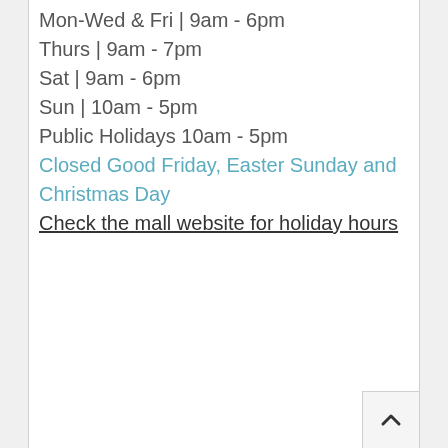Mon-Wed & Fri | 9am - 6pm
Thurs | 9am - 7pm
Sat | 9am - 6pm
Sun | 10am - 5pm
Public Holidays 10am - 5pm
Closed Good Friday, Easter Sunday and Christmas Day
Check the mall website for holiday hours